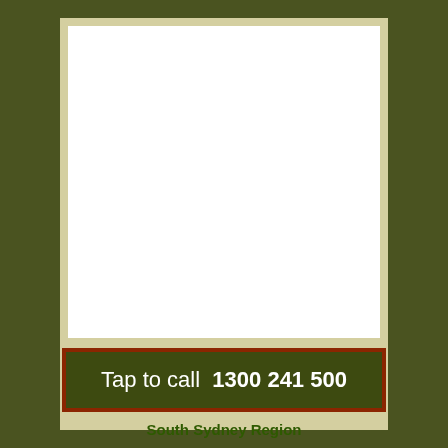Tap to call  1300 241 500
South Sydney Region